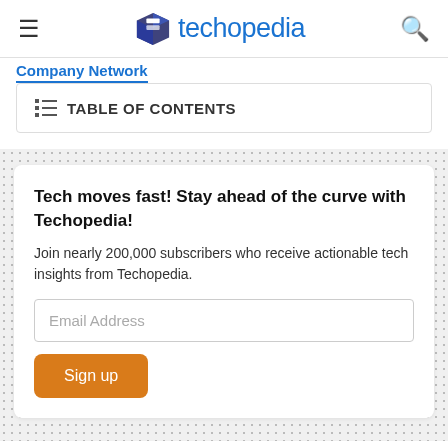techopedia
Company Network
TABLE OF CONTENTS
Tech moves fast! Stay ahead of the curve with Techopedia!
Join nearly 200,000 subscribers who receive actionable tech insights from Techopedia.
Email Address
Sign up